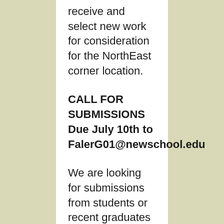receive and select new work for consideration for the NorthEast corner location.
CALL FOR SUBMISSIONS Due July 10th to FalerG01@newschool.edu
We are looking for submissions from students or recent graduates that: